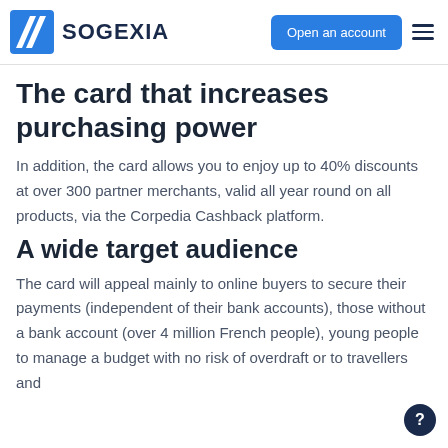SOGEXIA | Open an account
The card that increases purchasing power
In addition, the card allows you to enjoy up to 40% discounts at over 300 partner merchants, valid all year round on all products, via the Corpedia Cashback platform.
A wide target audience
The card will appeal mainly to online buyers to secure their payments (independent of their bank accounts), those without a bank account (over 4 million French people), young people to manage a budget with no risk of overdraft or to travellers and